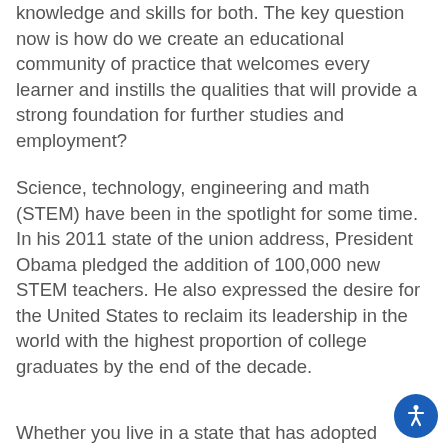knowledge and skills for both. The key question now is how do we create an educational community of practice that welcomes every learner and instills the qualities that will provide a strong foundation for further studies and employment?
Science, technology, engineering and math (STEM) have been in the spotlight for some time. In his 2011 state of the union address, President Obama pledged the addition of 100,000 new STEM teachers. He also expressed the desire for the United States to reclaim its leadership in the world with the highest proportion of college graduates by the end of the decade.
Whether you live in a state that has adopted